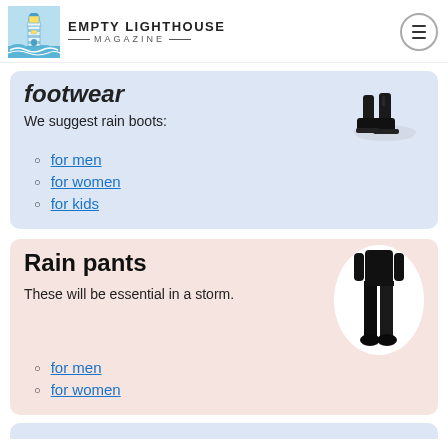EMPTY LIGHTHOUSE MAGAZINE
footwear
We suggest rain boots:
for men
for women
for kids
Rain pants
These will be essential in a storm.
for men
for women